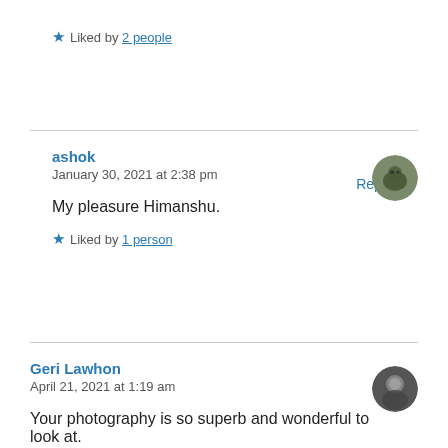★ Liked by 2 people
Reply
ashok
January 30, 2021 at 2:38 pm
My pleasure Himanshu.
★ Liked by 1 person
Geri Lawhon
April 21, 2021 at 1:19 am
Your photography is so superb and wonderful to look at.